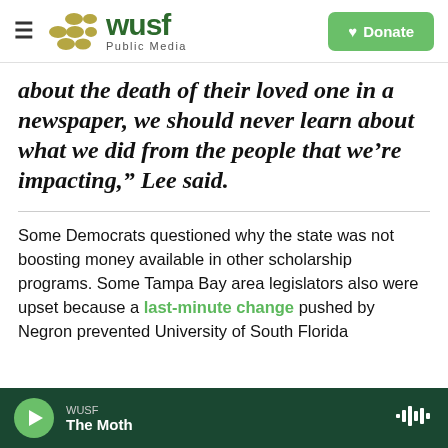WUSF Public Media — Donate
about the death of their loved one in a newspaper, we should never learn about what we did from the people that we're impacting," Lee said.
Some Democrats questioned why the state was not boosting money available in other scholarship programs. Some Tampa Bay area legislators also were upset because a last-minute change pushed by Negron prevented University of South Florida
WUSF — The Moth